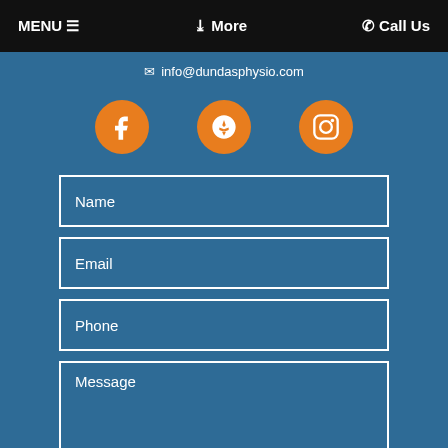MENU ≡   ❯ More   ☎ Call Us
info@dundasphysio.com
[Figure (screenshot): Three orange circular social media icon buttons: Facebook (f), Yelp (star/burst), and Instagram (camera outline)]
Name
Email
Phone
Message